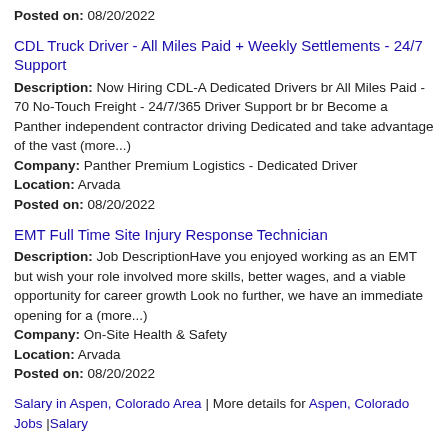Posted on: 08/20/2022
CDL Truck Driver - All Miles Paid + Weekly Settlements - 24/7 Support
Description: Now Hiring CDL-A Dedicated Drivers br All Miles Paid - 70 No-Touch Freight - 24/7/365 Driver Support br br Become a Panther independent contractor driving Dedicated and take advantage of the vast (more...)
Company: Panther Premium Logistics - Dedicated Driver
Location: Arvada
Posted on: 08/20/2022
EMT Full Time Site Injury Response Technician
Description: Job DescriptionHave you enjoyed working as an EMT but wish your role involved more skills, better wages, and a viable opportunity for career growth Look no further, we have an immediate opening for a (more...)
Company: On-Site Health & Safety
Location: Arvada
Posted on: 08/20/2022
Salary in Aspen, Colorado Area | More details for Aspen, Colorado Jobs |Salary